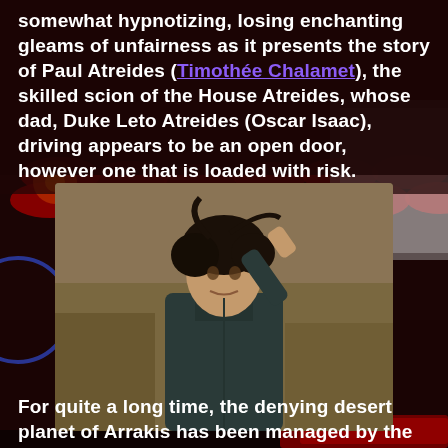somewhat hypnotizing, losing enchanting gleams of unfairness as it presents the story of Paul Atreides (Timothée Chalamet), the skilled scion of the House Atreides, whose dad, Duke Leto Atreides (Oscar Isaac), driving appears to be an open door, however one that is loaded with risk.
[Figure (photo): A young man with dark curly hair wearing a dark jacket, raising his arm, set against a rocky background — appears to be Timothée Chalamet as Paul Atreides in Dune.]
For quite a long time, the denying desert planet of Arrakis has been managed by the